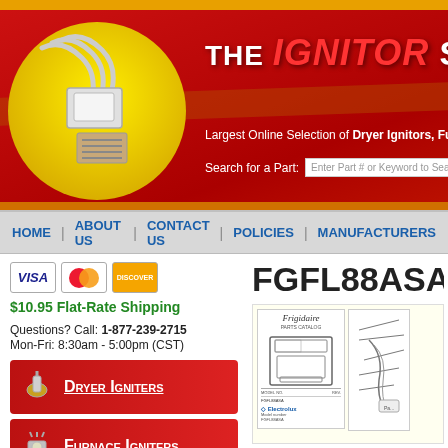[Figure (screenshot): The Ignitor Store website header with logo, yellow circle, ignitor image, site title, tagline about dryer ignitors and furnace parts, and search box]
THE IGNITOR STORE
Largest Online Selection of Dryer Ignitors, Furnace...
Search for a Part: Enter Part # or Keyword to Search
HOME | ABOUT US | CONTACT US | POLICIES | MANUFACTURERS
[Figure (logo): Visa, Mastercard, and Discover credit card icons]
$10.95 Flat-Rate Shipping
Questions? Call: 1-877-239-2715
Mon-Fri: 8:30am - 5:00pm (CST)
[Figure (illustration): Dryer Igniters category button with red background and igniter icon]
[Figure (illustration): Furnace Igniters category button with red background and igniter icon]
[Figure (illustration): Range Igniters category button with red background and igniter icon]
FGFL88ASA
[Figure (photo): Parts catalog pages showing Frigidaire stove schematic and parts diagram, by Electrolux]